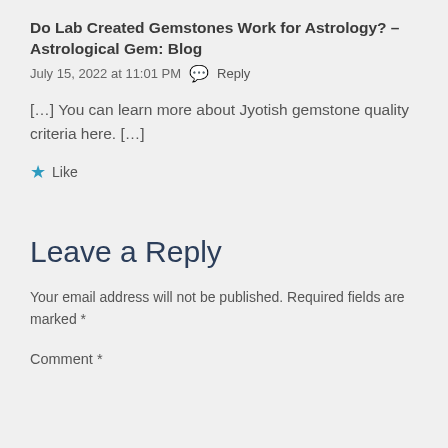Do Lab Created Gemstones Work for Astrology? – Astrological Gem: Blog
July 15, 2022 at 11:01 PM   Reply
[…] You can learn more about Jyotish gemstone quality criteria here. […]
★ Like
Leave a Reply
Your email address will not be published. Required fields are marked *
Comment *